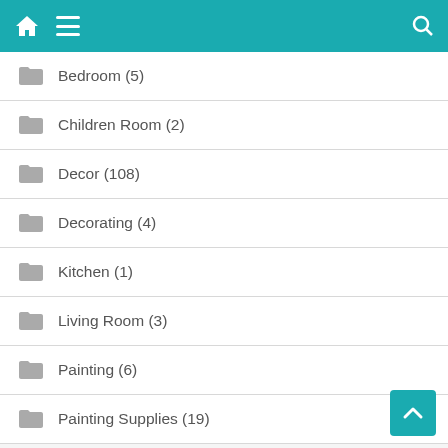Navigation header with home, menu, and search icons
Bedroom (5)
Children Room (2)
Decor (108)
Decorating (4)
Kitchen (1)
Living Room (3)
Painting (6)
Painting Supplies (19)
RECENT POSTS
Furnishings in Vintage Style